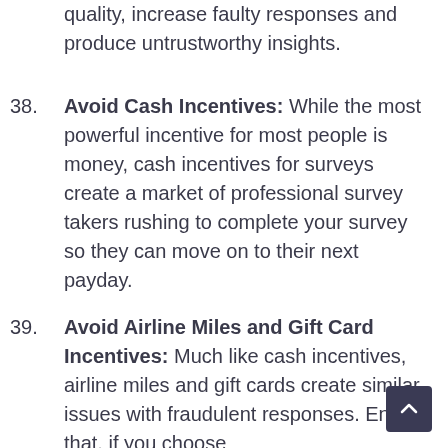quality, increase faulty responses and produce untrustworthy insights.
Avoid Cash Incentives: While the most powerful incentive for most people is money, cash incentives for surveys create a market of professional survey takers rushing to complete your survey so they can move on to their next payday.
Avoid Airline Miles and Gift Card Incentives: Much like cash incentives, airline miles and gift cards create similar issues with fraudulent responses. Ensure that, if you choose